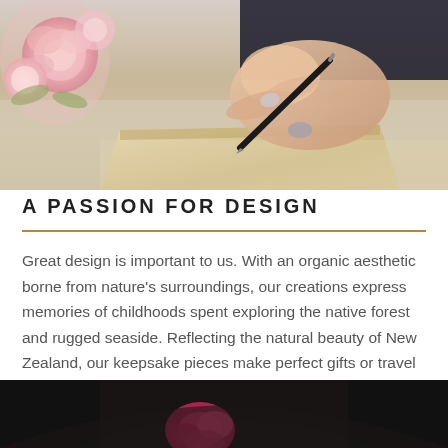[Figure (photo): Close-up photo of a woman's hand writing with a pen on a wooden keepsake box, with pink roses in the background on the left]
A PASSION FOR DESIGN
Great design is important to us. With an organic aesthetic borne from nature's surroundings, our creations express memories of childhoods spent exploring the native forest and rugged seaside. Reflecting the natural beauty of New Zealand, our keepsake pieces make perfect gifts or travel mementos.
[Figure (photo): Partial photo at bottom of page showing a person wearing dark clothing with what appears to be a floral pink accessory or necklace]